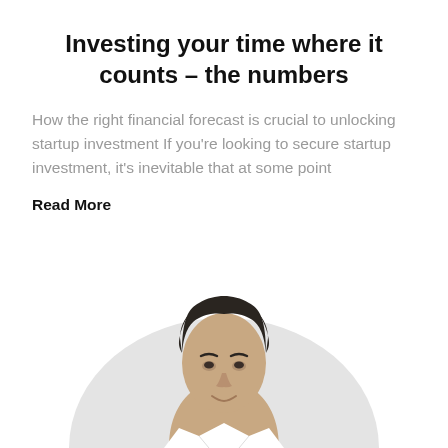Investing your time where it counts – the numbers
How the right financial forecast is crucial to unlocking startup investment If you're looking to secure startup investment, it's inevitable that at some point
Read More
[Figure (photo): A man with dark hair looking at the camera, shown from shoulders up, set against a light grey circular background.]